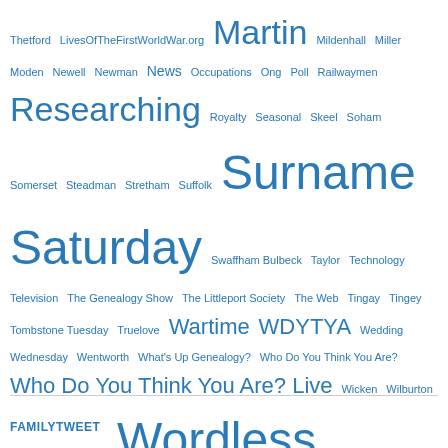Thetford LivesOfTheFirstWorldWar.org Martin Mildenhall Miller Moden Newell Newman News Occupations Ong Poll Railwaymen Researching Royalty Seasonal Skeel Soham Somerset Steadman Stretham Suffolk Surname Saturday Swaffham Bulbeck Taylor Technology Television The Genealogy Show The Littleport Society The Web Tingay Tingey Tombstone Tuesday Truelove Wartime WDYTYA Wedding Wednesday Wentworth What's Up Genealogy? Who Do You Think You Are? Who Do You Think You Are? Live Wicken Wilburton Witcham Witchford Wordless Wednesday Wright Yarrow
FAMILYTWEET